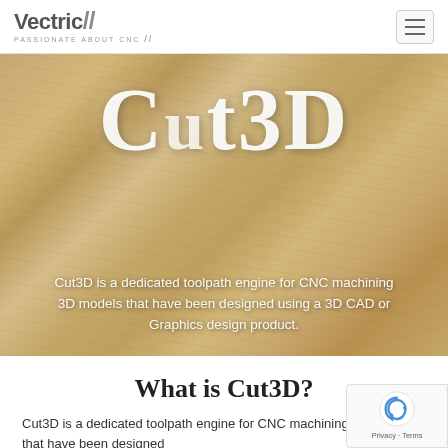Vectric / PASSIONATE ABOUT CNC
[Figure (photo): Hero banner showing Cut3D logo over a wooden bowl background with white stylized text 'Cut3D' and descriptive text below]
Cut3D is a dedicated toolpath engine for CNC machining 3D models that have been designed using a 3D CAD or Graphics design product.
What is Cut3D?
Cut3D is a dedicated toolpath engine for CNC machining 3D models that have been designed